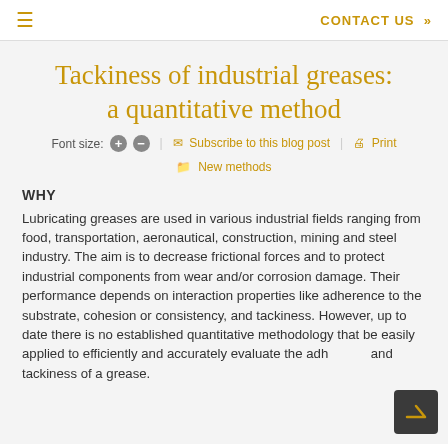≡   CONTACT US »
Tackiness of industrial greases: a quantitative method
Font size: + −  |  ✉ Subscribe to this blog post  |  🖨 Print
📁 New methods
WHY
Lubricating greases are used in various industrial fields ranging from food, transportation, aeronautical, construction, mining and steel industry. The aim is to decrease frictional forces and to protect industrial components from wear and/or corrosion damage. Their performance depends on interaction properties like adherence to the substrate, cohesion or consistency, and tackiness. However, up to date there is no established quantitative methodology that be easily applied to efficiently and accurately evaluate the adhesion and tackiness of a grease.